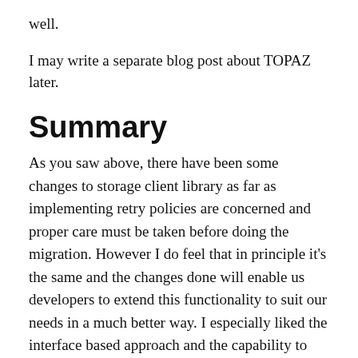well.
I may write a separate blog post about TOPAZ later.
Summary
As you saw above, there have been some changes to storage client library as far as implementing retry policies are concerned and proper care must be taken before doing the migration. However I do feel that in principle it’s the same and the changes done will enable us developers to extend this functionality to suit our needs in a much better way. I especially liked the interface based approach and the capability to define separate retry policies for each operation.
Please feel free to share your experience with migration exercise by providing comments. This will